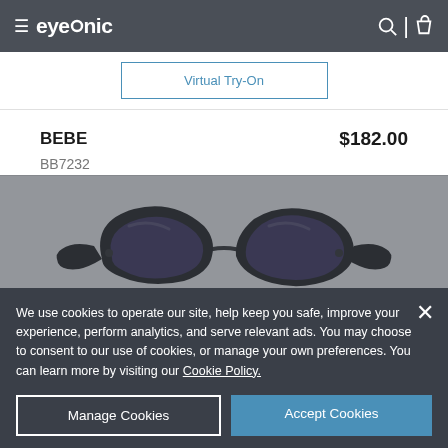eyeconic
Virtual Try-On
BEBE   $182.00
BB7232
[Figure (photo): Black cat-eye sunglasses (BEBE BB7232) displayed from the front on a white background, with three color swatches (brown, dark blue/black, blue) below]
We use cookies to operate our site, help keep you safe, improve your experience, perform analytics, and serve relevant ads. You may choose to consent to our use of cookies, or manage your own preferences. You can learn more by visiting our Cookie Policy.
Manage Cookies
Accept Cookies